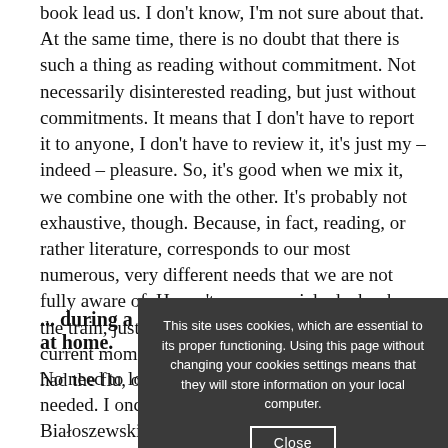book lead us. I don't know, I'm not sure about that. At the same time, there is no doubt that there is such a thing as reading without commitment. Not necessarily disinterested reading, but just without commitments. It means that I don't have to report it to anyone, I don't have to review it, it's just my – indeed – pleasure. So, it's good when we mix it, we combine one with the other. It's probably not exhaustive, though. Because, in fact, reading, or rather literature, corresponds to our most numerous, very different needs that we are not fully aware of. Haven't you ever picked a book on the train, just to kill time, to get away from the current moment? Or when you broke your leg, or had the flu, or...
... during a three-month lockdown at home.
No need to look far. For such special books are needed. I once fished out a beautiful sentence from Białoszewski. Białoszewski is in hospital, it is Christmas, so everyone brings something to the hospital, treats, but also something to read.
This site uses cookies, which are essential to its proper functioning. Using this page without changing your cookies settings means that they will store information on your local computer.